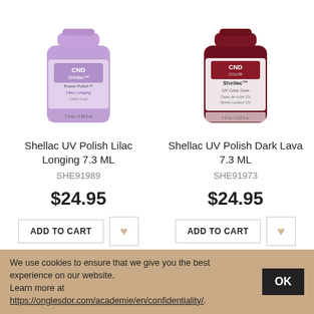[Figure (photo): CND Shellac UV Polish Lilac Longing 7.3 ML product bottle - lavender/purple jar]
[Figure (photo): CND Shellac UV Polish Dark Lava 7.3 ML product bottle - dark red/maroon jar]
Shellac UV Polish Lilac Longing 7.3 ML
Shellac UV Polish Dark Lava 7.3 ML
SHE91989
SHE91973
$24.95
$24.95
[Figure (photo): Nail polish bottle with black cap - partially visible at bottom of page]
[Figure (photo): Nail polish bottle with black cap and peach/nude color swatch - partially visible at bottom of page]
We use cookies to ensure that we give you the best experience on our website.
Learn more at https://onglesdor.com/academie/en/confidentiality/.